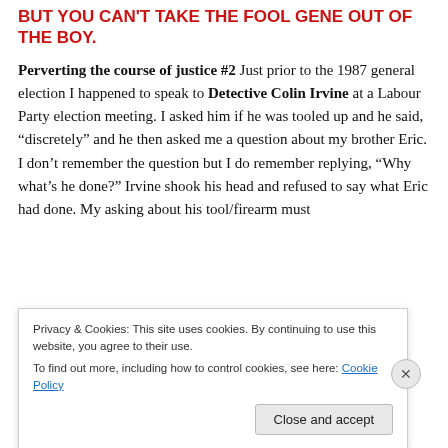BUT YOU CAN'T TAKE THE FOOL GENE OUT OF THE BOY.
Perverting the course of justice #2 Just prior to the 1987 general election I happened to speak to Detective Colin Irvine at a Labour Party election meeting. I asked him if he was tooled up and he said, “discretely” and he then asked me a question about my brother Eric. I don’t remember the question but I do remember replying, “Why what’s he done?” Irvine shook his head and refused to say what Eric had done. My asking about his tool/firearm must
Privacy & Cookies: This site uses cookies. By continuing to use this website, you agree to their use.
To find out more, including how to control cookies, see here: Cookie Policy
Close and accept